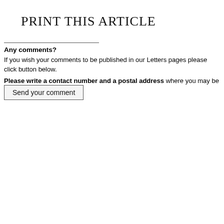PRINT THIS ARTICLE
Any comments?
If you wish your comments to be published in our Letters pages please click button below.
Please write a contact number and a postal address where you may be contacted.
Send your comment